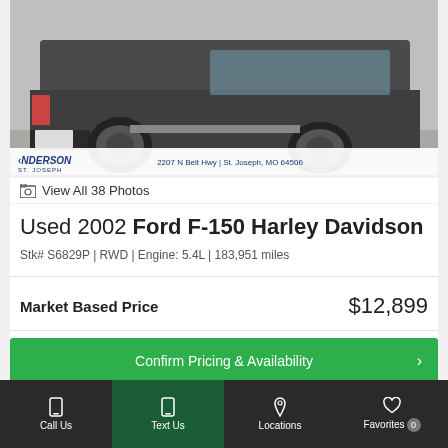[Figure (photo): Partial view of a dark grey Ford F-150 Harley Davidson pickup truck, showing the rear quarter and wheel from behind. Dealer watermark shows Anderson St. Joseph at 2207 N Belt Hwy, St. Joseph, MO 64506.]
📷 View All 38 Photos
Used 2002 Ford F-150 Harley Davidson
Stk# S6829P | RWD | Engine: 5.4L | 183,951 miles
Market Based Price    $12,899
Confirm Pricing & Availability
View This F-150's Details
Call Us   Text Us   Locations   Favorites 0